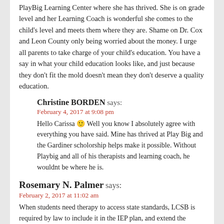PlayBig Learning Center where she has thrived. She is on grade level and her Learning Coach is wonderful she comes to the child's level and meets them where they are. Shame on Dr. Cox and Leon County only being worried about the money. I urge all parents to take charge of your child's education. You have a say in what your child education looks like, and just because they don't fit the mold doesn't mean they don't deserve a quality education.
Christine BORDEN says:
February 4, 2017 at 9:08 pm
Hello Carissa 🙂 Well you know I absolutely agree with everything you have said. Mine has thrived at Play Big and the Gardiner scholorship helps make it possible. Without Playbig and all of his therapists and learning coach, he wouldnt be where he is.
Rosemary N. Palmer says:
February 2, 2017 at 11:02 am
When students need therapy to access state standards, LCSB is required by law to include it in the IEP plan, and extend the school day if necessary so the kiddo gets the 300 instructional minutes. Mr. Cox failed to say that as leader of the school staff charged with assuring students with disabilities get what they need, he absolutely can allow children to leave SD property during school, he must do so or LCSB is discriminating. The FTE argument is specious since if it is in the IEP/504 plan it is counted in the 300 minutes.